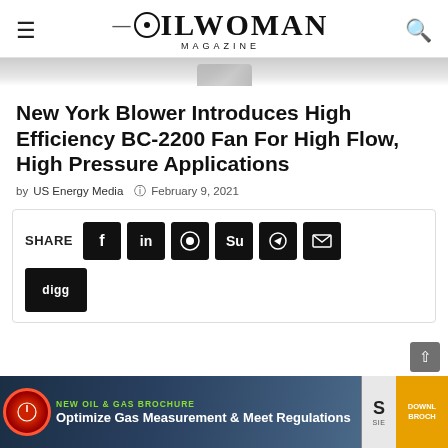OILWOMAN MAGAZINE
[Figure (photo): Partial image visible at top of page, appears to be industrial equipment]
New York Blower Introduces High Efficiency BC-2200 Fan For High Flow, High Pressure Applications
by US Energy Media   February 9, 2021
[Figure (infographic): Social share buttons box containing SHARE label and buttons for Facebook, LinkedIn, Reddit, StumbleUpon, Telegram, Email, and Digg]
[Figure (infographic): Advertisement banner: NEW OIL & GAS BROCHURE - Optimize Gas Measurement & Meet Regulations - DOWNLOAD BROCHURE]